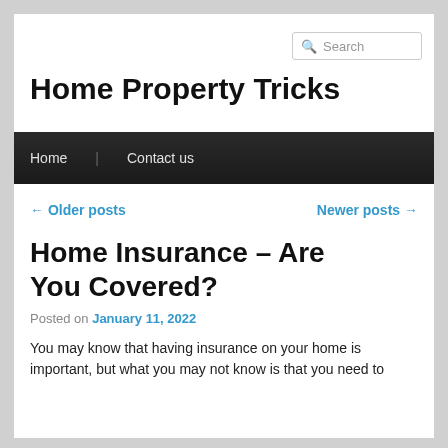Search
Home Property Tricks
Home   Contact us
← Older posts   Newer posts →
Home Insurance – Are You Covered?
Posted on January 11, 2022
You may know that having insurance on your home is important, but what you may not know is that you need to